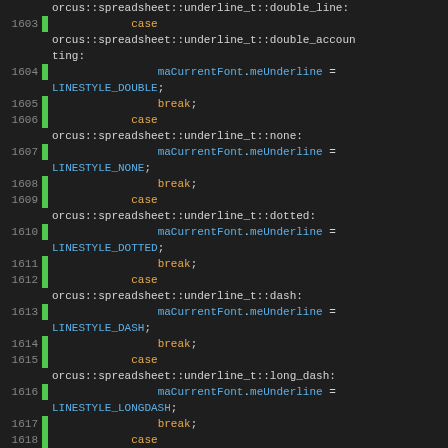[Figure (screenshot): Source code listing showing C++ switch-case statements handling orcus::spreadsheet::underline_t enum values, setting maCurrentFont.meUnderline to various LINESTYLE constants. Lines 1603-1621 visible.]